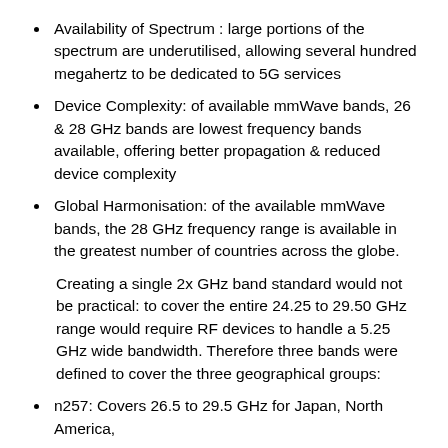Availability of Spectrum : large portions of the spectrum are underutilised, allowing several hundred megahertz to be dedicated to 5G services
Device Complexity: of available mmWave bands, 26 & 28 GHz bands are lowest frequency bands available, offering better propagation & reduced device complexity
Global Harmonisation: of the available mmWave bands, the 28 GHz frequency range is available in the greatest number of countries across the globe.
Creating a single 2x GHz band standard would not be practical: to cover the entire 24.25 to 29.50 GHz range would require RF devices to handle a 5.25 GHz wide bandwidth. Therefore three bands were defined to cover the three geographical groups:
n257: Covers 26.5 to 29.5 GHz for Japan, North America,